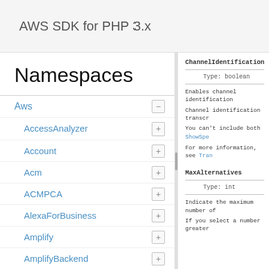AWS SDK for PHP 3.x
Namespaces
Aws
AccessAnalyzer
Account
Acm
ACMPCA
AlexaForBusiness
Amplify
AmplifyBackend
AmplifyUIBuilder
Api
ApiGateway
ApiGatewayManagementApi
ChannelIdentification
Type: boolean
Enables channel identification
Channel identification transcr
You can't include both ShowSpe
For more information, see Tran
MaxAlternatives
Type: int
Indicate the maximum number of
If you select a number greater